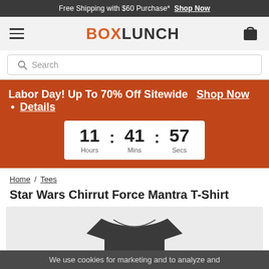Free Shipping with $60 Purchase* Shop Now
[Figure (logo): BoxLunch logo with hamburger menu and cart icon]
[Figure (screenshot): Search bar with magnifying glass icon and placeholder text 'Search']
Labor Day! Up To 70% Off Sitewide  Shop Now • Details
11 : 41 : 57 Hours Mins Secs
Home / Tees
Star Wars Chirrut Force Mantra T-Shirt
[Figure (photo): Dark grey/black t-shirt product image on light grey background]
We use cookies for marketing and to analyze and